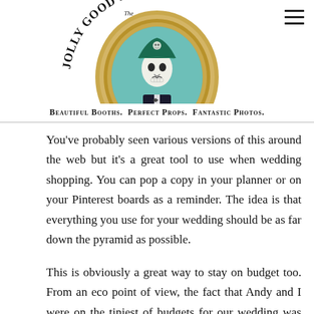[Figure (logo): Jolly Good Photo Co. logo: circular gold-framed oval portrait of a skull wearing a pirate hat, with decorative text arched above reading 'The Jolly Good Photo Co.']
Beautiful Booths. Perfect Props. Fantastic Photos.
You've probably seen various versions of this around the web but it's a great tool to use when wedding shopping. You can pop a copy in your planner or on your Pinterest boards as a reminder. The idea is that everything you use for your wedding should be as far down the pyramid as possible.
This is obviously a great way to stay on budget too. From an eco point of view, the fact that Andy and I were on the tiniest of budgets for our wedding was it's saving grace -